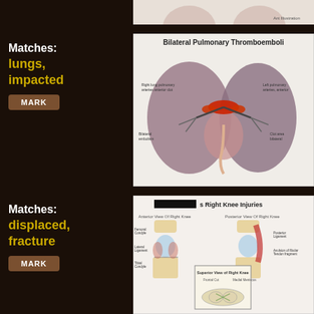[Figure (illustration): Partial top strip of a medical illustration, partially cropped]
Matches:
lungs, impacted
MARK
[Figure (illustration): Bilateral Pulmonary Thromboemboli - medical diagram showing lungs with heart, depicting blood clots with labels and annotations]
Matches:
displaced, fracture
MARK
[Figure (illustration): Right Knee Injuries - medical diagram showing anterior and posterior views of right knee with anatomical labels and inset showing superior view]